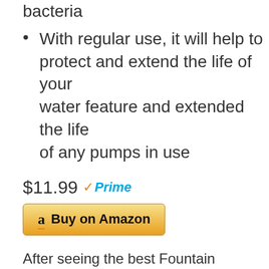bacteria
With regular use, it will help to protect and extend the life of your water feature and extended the life of any pumps in use
$11.99 Prime
[Figure (other): Buy on Amazon button with Amazon logo]
After seeing the best Fountain Algaecide And Clarifier 2022 lets look into the future:
Best Fountain Algaecide And Clarifier 2023